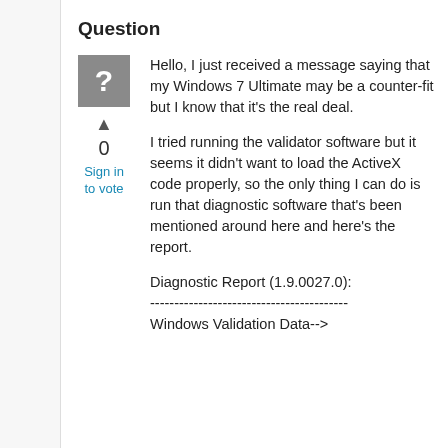Question
[Figure (other): Grey square user avatar icon with white question mark]
▲
0
Sign in to vote
Hello, I just received a message saying that my Windows 7 Ultimate may be a counter-fit but I know that it's the real deal.

I tried running the validator software but it seems it didn't want to load the ActiveX code properly, so the only thing I can do is run that diagnostic software that's been mentioned around here and here's the report.

Diagnostic Report (1.9.0027.0):
-----------------------------------------
Windows Validation Data-->